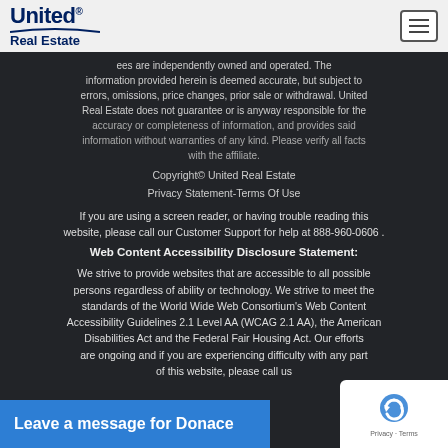United Real Estate
All offices are independently owned and operated. The information provided herein is deemed accurate, but subject to errors, omissions, price changes, prior sale or withdrawal. United Real Estate does not guarantee or is anyway responsible for the accuracy or completeness of information, and provides said information without warranties of any kind. Please verify all facts with the affiliate.
Copyright© United Real Estate
Privacy Statement-Terms Of Use
If you are using a screen reader, or having trouble reading this website, please call our Customer Support for help at 888-960-0606 .
Web Content Accessibility Disclosure Statement:
We strive to provide websites that are accessible to all possible persons regardless of ability or technology. We strive to meet the standards of the World Wide Web Consortium's Web Content Accessibility Guidelines 2.1 Level AA (WCAG 2.1 AA), the American Disabilities Act and the Federal Fair Housing Act. Our efforts are ongoing and if you are experiencing difficulty with any part of this website, please call us